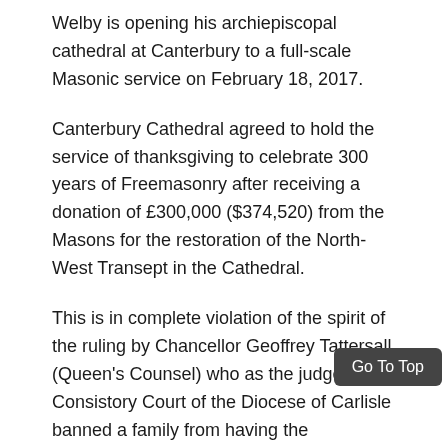Welby is opening his archiepiscopal cathedral at Canterbury to a full-scale Masonic service on February 18, 2017.
Canterbury Cathedral agreed to hold the service of thanksgiving to celebrate 300 years of Freemasonry after receiving a donation of £300,000 ($374,520) from the Masons for the restoration of the North-West Transept in the Cathedral.
This is in complete violation of the spirit of the ruling by Chancellor Geoffrey Tattersall (Queen's Counsel) who as the judge in the Consistory Court of the Diocese of Carlisle banned a family from having the Freemasons square and compass emblem engraved on the gravestone of a Freemason who died after devoting much of his life to the organization.
The set square and compass is a Masonic symbol and can